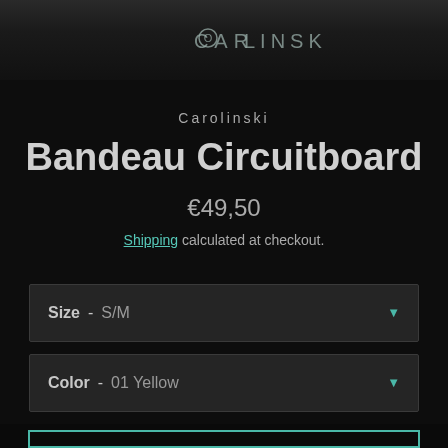[Figure (logo): Carolinski brand logo in teal/grey letters on dark textured background banner]
Carolinski
Bandeau Circuitboard
€49,50
Shipping calculated at checkout.
Size  -  S/M
Color  -  01 Yellow